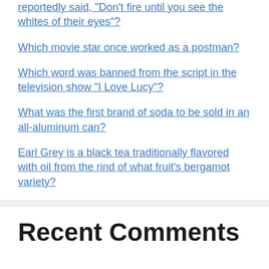reportedly said, "Don't fire until you see the whites of their eyes"?
Which movie star once worked as a postman?
Which word was banned from the script in the television show "I Love Lucy"?
What was the first brand of soda to be sold in an all-aluminum can?
Earl Grey is a black tea traditionally flavored with oil from the rind of what fruit's bergamot variety?
Recent Comments